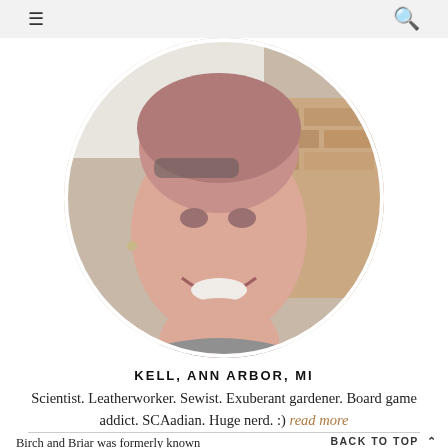≡  🔍
[Figure (photo): Circular cropped portrait photo of a smiling person with short hair, wearing a grey top, with a brick wall visible in the background.]
KELL, ANN ARBOR, MI
Scientist. Leatherworker. Sewist. Exuberant gardener. Board game addict. SCAadian. Huge nerd. :) read more
Birch and Briar was formerly known
BACK TO TOP ^